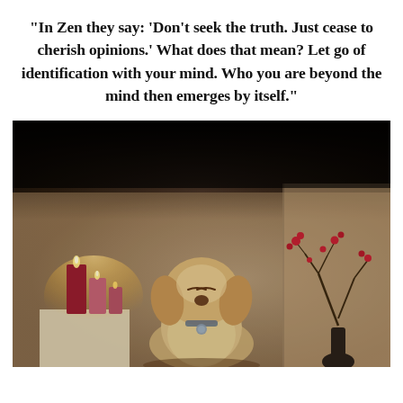“In Zen they say: ‘Don’t seek the truth. Just cease to cherish opinions.’ What does that mean? Let go of identification with your mind. Who you are beyond the mind then emerges by itself.”
[Figure (photo): A dog sitting in a meditative pose with eyes closed, flanked by lit red candles on the left and a bare branch in a vase on the right, in a warmly lit room with a dark background at the top.]